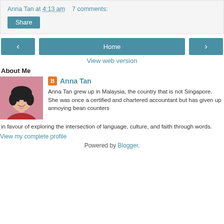Anna Tan at 4:13 am   7 comments:
Share
‹  Home  ›
View web version
About Me
[Figure (photo): Profile photo of Anna Tan, a woman in a red top with short dark hair, smiling, against a pink background]
Anna Tan
Anna Tan grew up in Malaysia, the country that is not Singapore. She was once a certified and chartered accountant but has given up annoying bean counters in favour of exploring the intersection of language, culture, and faith through words.
View my complete profile
Powered by Blogger.